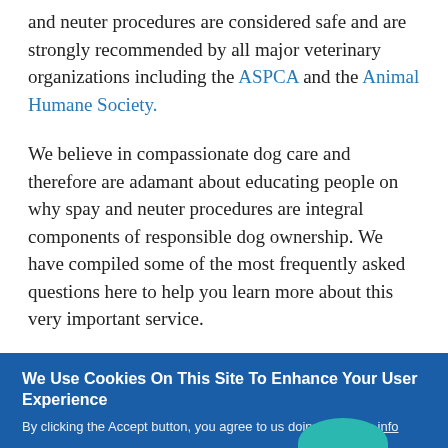and neuter procedures are considered safe and are strongly recommended by all major veterinary organizations including the ASPCA and the Animal Humane Society.
We believe in compassionate dog care and therefore are adamant about educating people on why spay and neuter procedures are integral components of responsible dog ownership. We have compiled some of the most frequently asked questions here to help you learn more about this very important service.
A Responsible And Servi...
We Use Cookies On This Site To Enhance Your User Experience
By clicking the Accept button, you agree to us doing so. More info